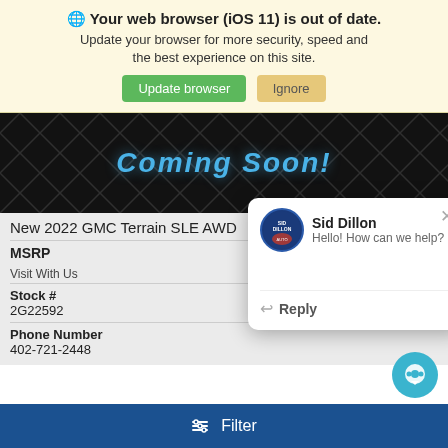🌐 Your web browser (iOS 11) is out of date. Update your browser for more security, speed and the best experience on this site.
[Figure (screenshot): Coming Soon! banner with dark diamond-pattern background and blue italic text]
New 2022 GMC Terrain SLE AWD
MSRP
Visit With Us
Stock #
2G22592
Phone Number
402-721-2448
[Figure (screenshot): Chat popup from Sid Dillon: Hello! How can we help? with Reply option]
🔧 Filter